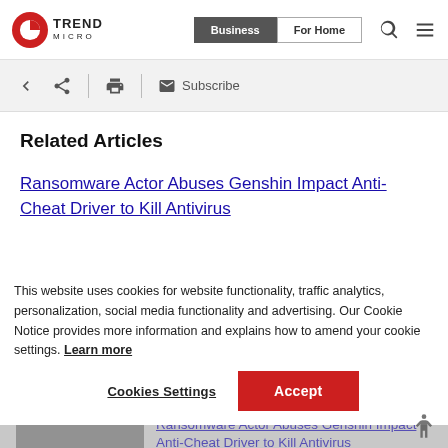Trend Micro — Business | For Home
Related Articles
Ransomware Actor Abuses Genshin Impact Anti-Cheat Driver to Kill Antivirus
Protecting S3 from Malware: The Cold Hard Truth
This website uses cookies for website functionality, traffic analytics, personalization, social media functionality and advertising. Our Cookie Notice provides more information and explains how to amend your cookie settings. Learn more
Cookies Settings
Accept
Ransomware Actor Abuses Genshin Impact Anti-Cheat Driver to Kill Antivirus